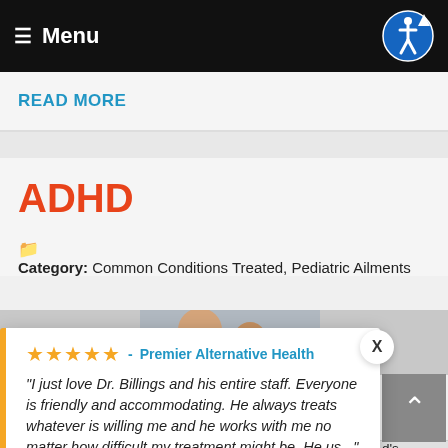Menu
READ MORE
ADHD
Category: Common Conditions Treated, Pediatric Ailments
[Figure (photo): Photo of a doctor or healthcare provider with a child patient, smiling]
★★★★★ - Premier Alternative Health
"I just love Dr. Billings and his entire staff. Everyone is friendly and accommodating. He always treats whatever is willing me and he works with me no matter how difficult my treatment might be. He us..."
— Ronni Jones, in the last 2 weeks
by Review Wave